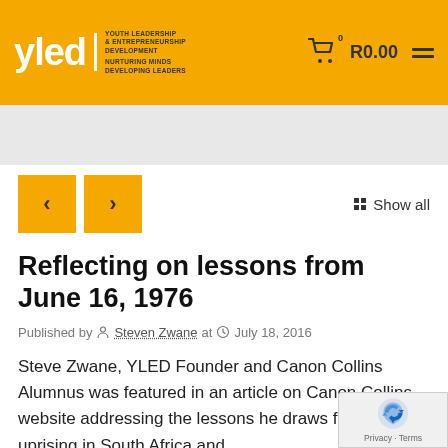YLED – Youth Leadership & Entrepreneurship Development. Nurturing Minds, Developing Leaders. Cart: R0.00
Reflecting on lessons from June 16, 1976
Published by Steven Zwane at July 18, 2016
Steve Zwane, YLED Founder and Canon Collins Alumnus was featured in an article on Canon Collins website addressing the lessons he draws from the '76 uprising in South Africa and